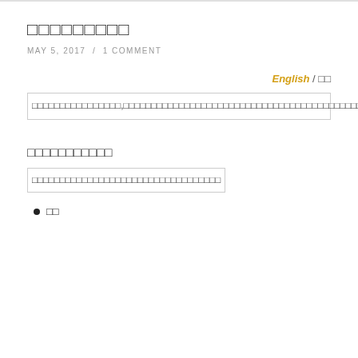□□□□□□□□□
MAY 5, 2017  /  1 COMMENT
English / □□
□□□□□□□□□□□□□□□□,□□□□□□□□□□□□□□□□□□□□□□□□□□□□□□□□□□□□□□□□□□□□□□□□□□□demo□□□□□□□□□□□□□□□□□□□□□□□□□□□□□□□□□□□□□□□□□□□□□□□□□□□□□□□□□□□□□□□□□□□
□□□□□□□□□□□
□□□□□□□□□□□□□□□□□□□□□□□□□□□□□□□□□□
□□